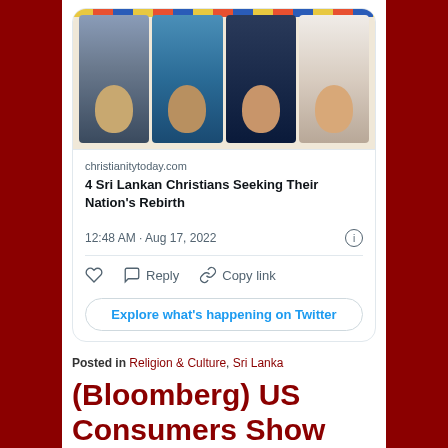[Figure (screenshot): Twitter/X tweet card with article link preview showing 4 Sri Lankan faces. Article from christianitytoday.com titled '4 Sri Lankan Christians Seeking Their Nation's Rebirth'. Tweet timestamp: 12:48 AM · Aug 17, 2022. Actions: like, reply, copy link. Button: Explore what's happening on Twitter.]
Posted in Religion & Culture, Sri Lanka
(Bloomberg) US Consumers Show